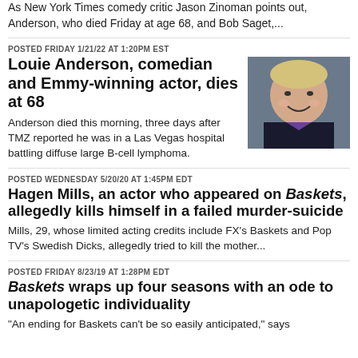As New York Times comedy critic Jason Zinoman points out, Anderson, who died Friday at age 68, and Bob Saget,...
POSTED FRIDAY 1/21/22 AT 1:20PM EST
Louie Anderson, comedian and Emmy-winning actor, dies at 68
Anderson died this morning, three days after TMZ reported he was in a Las Vegas hospital battling diffuse large B-cell lymphoma.
[Figure (photo): Headshot photo of Louie Anderson, a blonde-haired man smiling, wearing a dark suit with purple tie]
POSTED WEDNESDAY 5/20/20 AT 1:45PM EDT
Hagen Mills, an actor who appeared on Baskets, allegedly kills himself in a failed murder-suicide
Mills, 29, whose limited acting credits include FX's Baskets and Pop TV's Swedish Dicks, allegedly tried to kill the mother...
POSTED FRIDAY 8/23/19 AT 1:28PM EDT
Baskets wraps up four seasons with an ode to unapologetic individuality
"An ending for Baskets can't be so easily anticipated," says